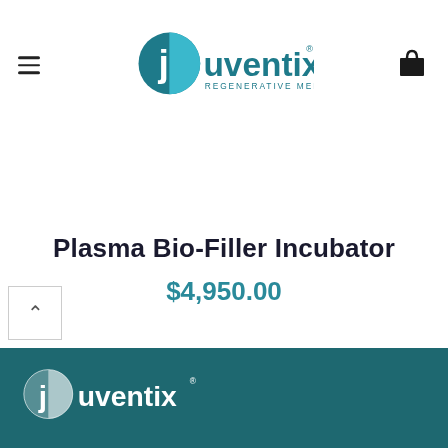Juventix Regenerative Medical
Plasma Bio-Filler Incubator
$4,950.00
[Figure (logo): Juventix Regenerative Medical logo in teal and dark blue on dark teal footer background]